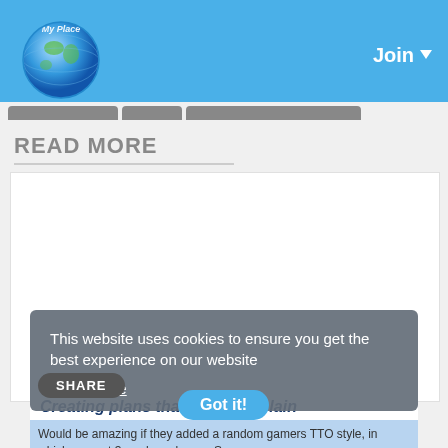My Place | Join
READ MORE
[Figure (other): White advertisement/content area placeholder]
This website uses cookies to ensure you get the best experience on our website
Learn More
Creating plans that they complain
Would be amazing if they added a random gamers TTO style, in which you get 3 random players. So...